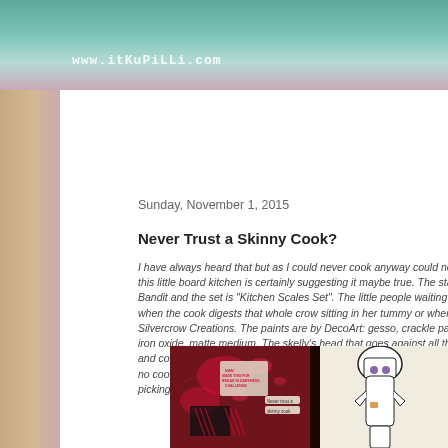www.itKuPiLLi.com
Sunday, November 1, 2015
Never Trust a Skinny Cook?
I have always heard that but as I could never cook anyway could not prove or disprove it but this little board kitchen is certainly suggesting it maybe true. The stamp company is Paper Bandit and the set is "Kitchen Scales Set". The little people waiting to either be eaten when the cook digests that whole crow sitting in her tummy or where are they from? Silvercrow Creations. The paints are by DecoArt: gesso, crackle paste, modeling paste, iron oxide, matte medium. The skelly's head that goes against all things gravity is hand cut and colored with Prisma colored pencils. The brain waiting for her zombie snack (no cooking required!) is polymer clay painted after baking to look zombie-like. She is not picking her nose! That is a piece of chocolate bar in her hand!
[Figure (photo): Art project photo showing a small board kitchen scene with splattered paint, hand prints, and illustrated cook character with chef hat]